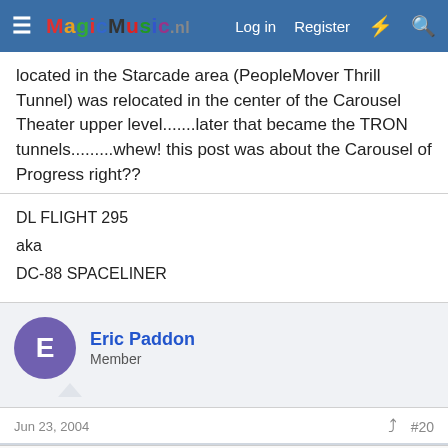MagicMusic.nl — Log in | Register
located in the Starcade area (PeopleMover Thrill Tunnel) was relocated in the center of the Carousel Theater upper level.......later that became the TRON tunnels.........whew! this post was about the Carousel of Progress right??
DL FLIGHT 295
aka
DC-88 SPACELINER
Eric Paddon
Member
Jun 23, 2004  #20
This site uses cookies to help personalise content, tailor your experience and to keep you logged in if you register.
By continuing to use this site, you are consenting to our use of cookies.